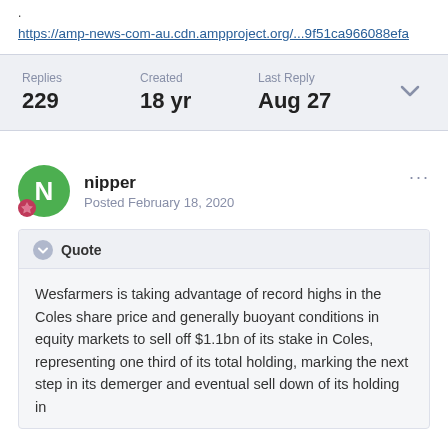.
https://amp-news-com-au.cdn.ampproject.org/...9f51ca966088efa
| Replies | Created | Last Reply |
| --- | --- | --- |
| 229 | 18 yr | Aug 27 |
nipper
Posted February 18, 2020
Quote

Wesfarmers is taking advantage of record highs in the Coles share price and generally buoyant conditions in equity markets to sell off $1.1bn of its stake in Coles, representing one third of its total holding, marking the next step in its demerger and eventual sell down of its holding in